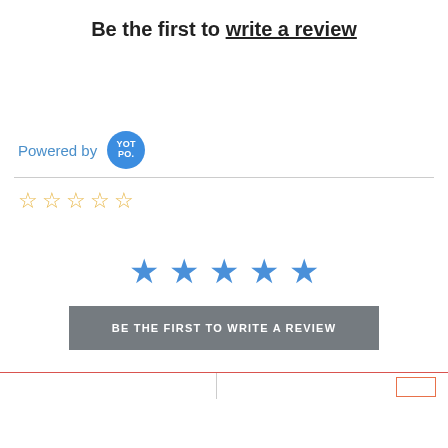Be the first to write a review
Powered by YOTPO.
[Figure (other): Five empty gold star rating icons]
[Figure (other): Five filled blue star rating icons with a gray button labeled BE THE FIRST TO WRITE A REVIEW]
BE THE FIRST TO WRITE A REVIEW